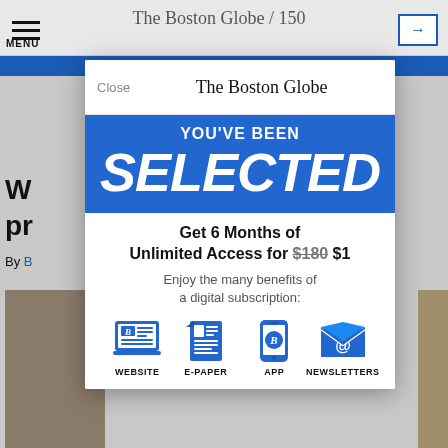[Figure (screenshot): Screenshot of The Boston Globe website with a subscription modal overlay. Background shows the Globe navigation bar, a blue header bar, and partial article text. A modal dialog is overlaid showing 'YOU'VE BEEN SELECTED' in blue, offering 6 months of unlimited access for $1 (originally $180), with icons for Website, E-Paper, App, and Newsletters.]
YOU'VE BEEN SELECTED
Get 6 Months of Unlimited Access for $180 $1
Enjoy the many benefits of a digital subscription:
WEBSITE
E-PAPER
APP
NEWSLETTERS